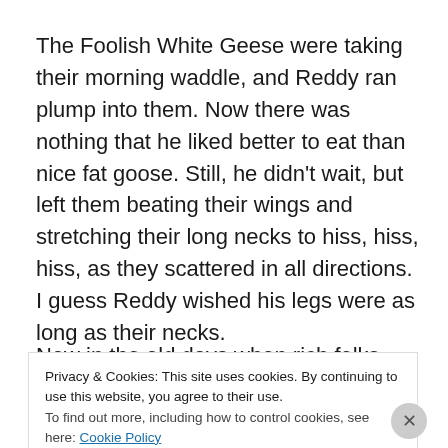The Foolish White Geese were taking their morning waddle, and Reddy ran plump into them. Now there was nothing that he liked better to eat than nice fat goose. Still, he didn't wait, but left them beating their wings and stretching their long necks to hiss, hiss, hiss, as they scattered in all directions. I guess Reddy wished his legs were as long as their necks.
Now in the old days when rich folks lived in castles and
Privacy & Cookies: This site uses cookies. By continuing to use this website, you agree to their use.
To find out more, including how to control cookies, see here: Cookie Policy
Close and accept